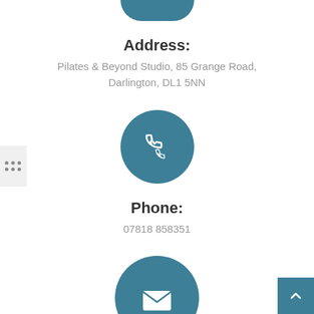[Figure (illustration): Partial teal circle icon (location pin) cropped at top of page]
Address:
Pilates & Beyond Studio, 85 Grange Road, Darlington, DL1 5NN
[Figure (illustration): Teal circle with white phone handset icon]
Phone:
07818 858351
[Figure (illustration): Teal circle with white envelope/mail icon, partially cropped at bottom]